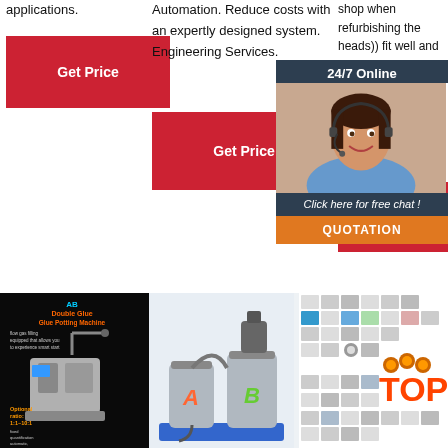applications.
Automation. Reduce costs with an expertly designed system. Engineering Services.
shop when refurbishing the heads)) fit well and seemed to be of high quality. The some p body g injecto I recog
Get Price
Get Price
Get
[Figure (infographic): 24/7 Online chat widget with customer service representative photo, 'Click here for free chat!' text, and orange QUOTATION button]
[Figure (photo): AB Double Glue Glue Potting Machine product photo on black background with orange text describing optional ratio 1:1-10:1]
[Figure (photo): Two metal containers labeled A and B on blue platform - AB glue mixing machine]
[Figure (photo): Product catalog grid showing various industrial components with TOP logo in orange]